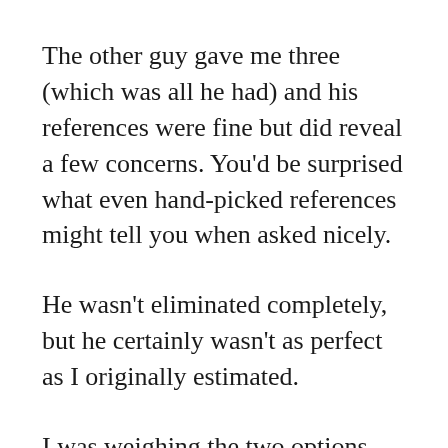The other guy gave me three (which was all he had) and his references were fine but did reveal a few concerns. You'd be surprised what even hand-picked references might tell you when asked nicely.
He wasn't eliminated completely, but he certainly wasn't as perfect as I originally estimated.
I was weighing the two options when fate intervened. I bought a second property and had a total of eight units (Rules to follow when buying rental property) and it just so happened to be managed by the large property